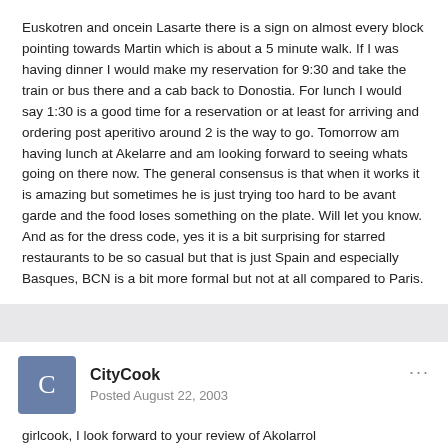Euskotren and oncein Lasarte there is a sign on almost every block pointing towards Martin which is about a 5 minute walk. If I was having dinner I would make my reservation for 9:30 and take the train or bus there and a cab back to Donostia. For lunch I would say 1:30 is a good time for a reservation or at least for arriving and ordering post aperitivo around 2 is the way to go. Tomorrow am having lunch at Akelarre and am looking forward to seeing whats going on there now. The general consensus is that when it works it is amazing but sometimes he is just trying too hard to be avant garde and the food loses something on the plate. Will let you know.
And as for the dress code, yes it is a bit surprising for starred restaurants to be so casual but that is just Spain and especially Basques, BCN is a bit more formal but not at all compared to Paris.
CityCook
Posted August 22, 2003
girlcook, I look forward to your review of Akolarrol